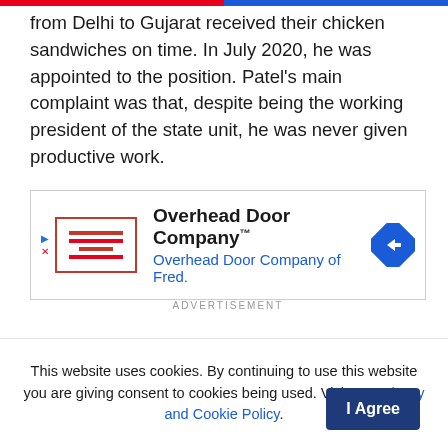from Delhi to Gujarat received their chicken sandwiches on time. In July 2020, he was appointed to the position. Patel's main complaint was that, despite being the working president of the state unit, he was never given productive work.
Patel resigned from the Congress in May, writing a derisive letter to party leader Sonia Gandhi wherein he launched an all-out strike on the Gujarat Congress unit and top brass.
[Figure (other): Advertisement banner for Overhead Door Company with logo, company name, and blue diamond arrow icon. Overhead Door Company of Fred.]
This website uses cookies. By continuing to use this website you are giving consent to cookies being used. Visit our Privacy and Cookie Policy.